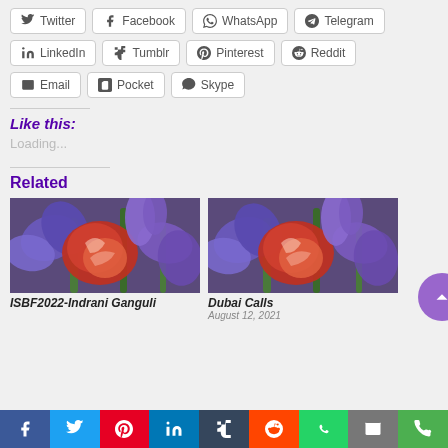Twitter
Facebook
WhatsApp
Telegram
LinkedIn
Tumblr
Pinterest
Reddit
Email
Pocket
Skype
Like this:
Loading...
Related
[Figure (photo): Close-up photo of red and purple flowers (gladioli)]
ISBF2022-Indrani Ganguli
[Figure (photo): Close-up photo of red and purple flowers (gladioli)]
Dubai Calls
August 12, 2021